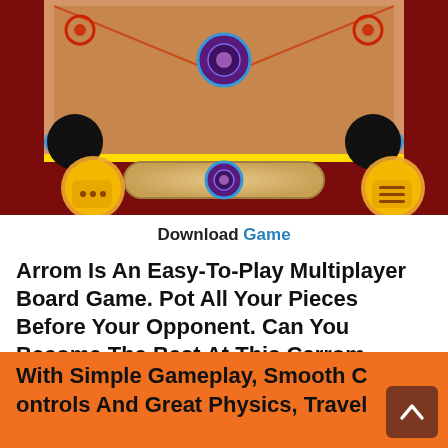[Figure (screenshot): Screenshot of a carrom board game app showing the game board with pieces, a striker bar, chat and menu buttons on a dark red background]
Download Game
Arrom Is An Easy-To-Play Multiplayer Board Game. Pot All Your Pieces Before Your Opponent. Can You Become The Best At This Carrom Board Game ?
With Simple Gameplay, Smooth Controls And Great Physics, Travel